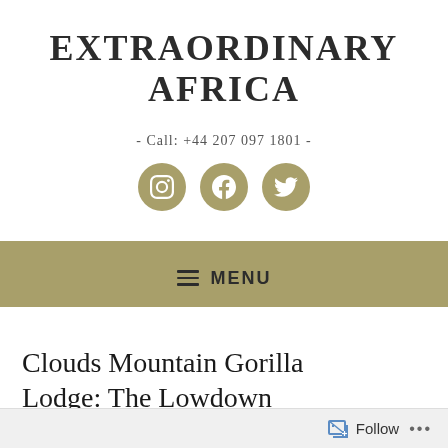EXTRAORDINARY AFRICA
- Call: +44 207 097 1801 -
[Figure (other): Three social media icons (Instagram, Facebook, Twitter) as white icons on olive/khaki circular backgrounds]
≡ MENU
Clouds Mountain Gorilla Lodge: The Lowdown
Follow ...